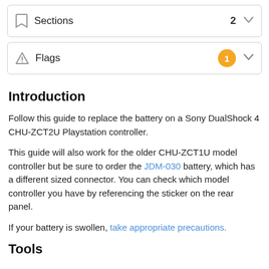Sections  2
Flags  1
Introduction
Follow this guide to replace the battery on a Sony DualShock 4 CHU-ZCT2U Playstation controller.
This guide will also work for the older CHU-ZCT1U model controller but be sure to order the JDM-030 battery, which has a different sized connector. You can check which model controller you have by referencing the sticker on the rear panel.
If your battery is swollen, take appropriate precautions.
Tools